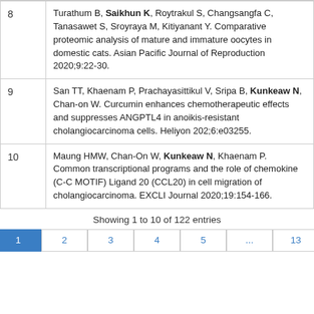| # | Reference |
| --- | --- |
| 8 | Turathum B, Saikhun K, Roytrakul S, Changsangfa C, Tanasawet S, Sroyraya M, Kitiyanant Y. Comparative proteomic analysis of mature and immature oocytes in domestic cats. Asian Pacific Journal of Reproduction 2020;9:22-30. |
| 9 | San TT, Khaenam P, Prachayasittikul V, Sripa B, Kunkeaw N, Chan-on W. Curcumin enhances chemotherapeutic effects and suppresses ANGPTL4 in anoikis-resistant cholangiocarcinoma cells. Heliyon 202;6:e03255. |
| 10 | Maung HMW, Chan-On W, Kunkeaw N, Khaenam P. Common transcriptional programs and the role of chemokine (C-C MOTIF) Ligand 20 (CCL20) in cell migration of cholangiocarcinoma. EXCLI Journal 2020;19:154-166. |
Showing 1 to 10 of 122 entries